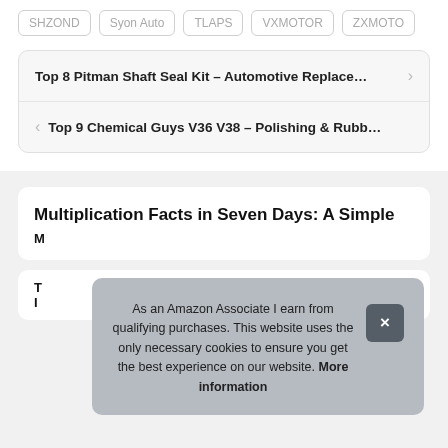SHZOND | Syon Auto | TLAPS | VXMOTOR | ZXMOTO
Top 8 Pitman Shaft Seal Kit – Automotive Replace…
Top 9 Chemical Guys V36 V38 – Polishing & Rubb…
Multiplication Facts in Seven Days: A Simple
M
T
I
As an Amazon Associate I earn from qualifying purchases. This website uses the only necessary cookies to ensure you get the best experience on our website. More information